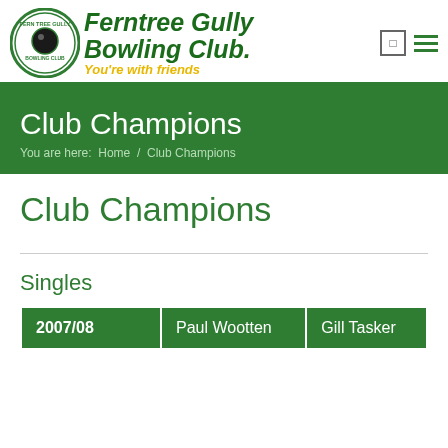Ferntree Gully Bowling Club - You're with friends
Club Champions
You are here: Home / Club Champions
Club Champions
Singles
| Year | Men | Women |
| --- | --- | --- |
| 2007/08 | Paul Wootten | Gill Tasker |